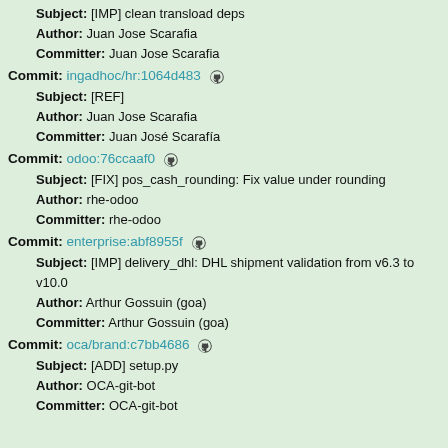Subject: [IMP] clean transload deps
Author: Juan Jose Scarafia
Committer: Juan Jose Scarafia
Commit: ingadhoc/hr:1064d483
Subject: [REF]
Author: Juan Jose Scarafia
Committer: Juan José Scarafía
Commit: odoo:76ccaaf0
Subject: [FIX] pos_cash_rounding: Fix value under rounding
Author: rhe-odoo
Committer: rhe-odoo
Commit: enterprise:abf8955f
Subject: [IMP] delivery_dhl: DHL shipment validation from v6.3 to v10.0
Author: Arthur Gossuin (goa)
Committer: Arthur Gossuin (goa)
Commit: oca/brand:c7bb4686
Subject: [ADD] setup.py
Author: OCA-git-bot
Committer: OCA-git-bot